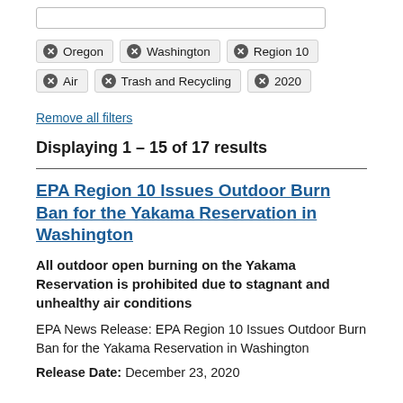Oregon
Washington
Region 10
Air
Trash and Recycling
2020
Remove all filters
Displaying 1 – 15 of 17 results
EPA Region 10 Issues Outdoor Burn Ban for the Yakama Reservation in Washington
All outdoor open burning on the Yakama Reservation is prohibited due to stagnant and unhealthy air conditions
EPA News Release: EPA Region 10 Issues Outdoor Burn Ban for the Yakama Reservation in Washington
Release Date: December 23, 2020